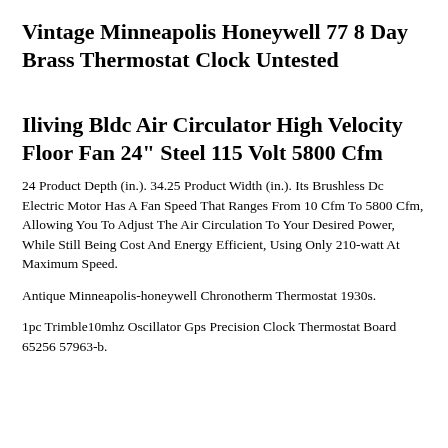Vintage Minneapolis Honeywell 77 8 Day Brass Thermostat Clock Untested
Iliving Bldc Air Circulator High Velocity Floor Fan 24" Steel 115 Volt 5800 Cfm
24 Product Depth (in.). 34.25 Product Width (in.). Its Brushless Dc Electric Motor Has A Fan Speed That Ranges From 10 Cfm To 5800 Cfm, Allowing You To Adjust The Air Circulation To Your Desired Power, While Still Being Cost And Energy Efficient, Using Only 210-watt At Maximum Speed.
Antique Minneapolis-honeywell Chronotherm Thermostat 1930s.
1pc Trimble10mhz Oscillator Gps Precision Clock Thermostat Board 65256 57963-b.